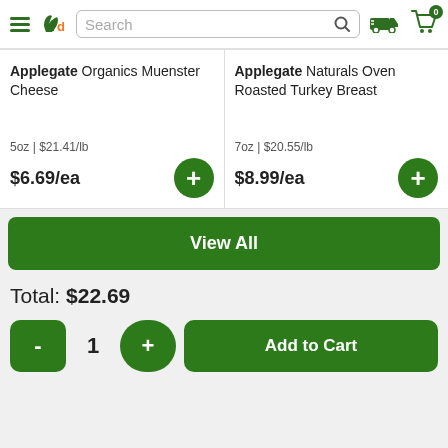fd - freshdrect app header with search bar, delivery truck icon, and cart with 0 items
Applegate Organics Muenster Cheese
5oz | $21.41/lb
$6.69/ea
Applegate Naturals Oven Roasted Turkey Breast
7oz | $20.55/lb
$8.99/ea
View All
Total: $22.69
- 1 + Add to Cart